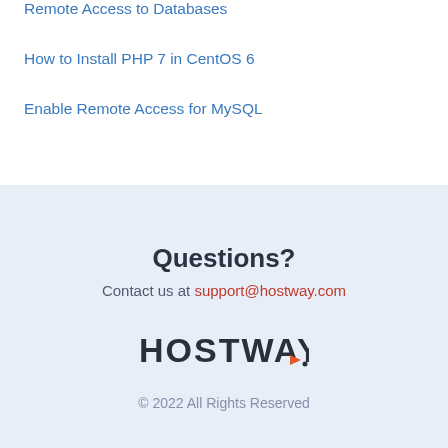Remote Access to Databases
How to Install PHP 7 in CentOS 6
Enable Remote Access for MySQL
Questions?
Contact us at support@hostway.com
[Figure (logo): Hostway logo — dark text 'HOSTWAY' with a small orange triangle/play icon before the period]
© 2022 All Rights Reserved